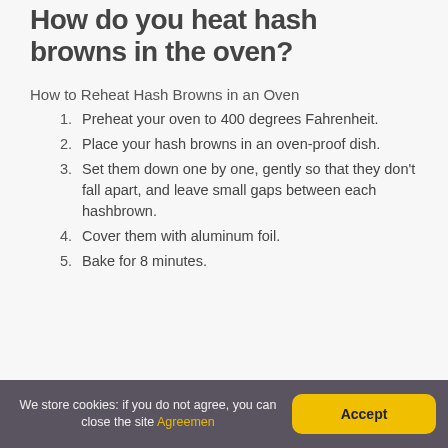How do you heat hash browns in the oven?
How to Reheat Hash Browns in an Oven
Preheat your oven to 400 degrees Fahrenheit.
Place your hash browns in an oven-proof dish.
Set them down one by one, gently so that they don't fall apart, and leave small gaps between each hashbrown.
Cover them with aluminum foil.
Bake for 8 minutes.
We store cookies: if you do not agree, you can close the site Agreement